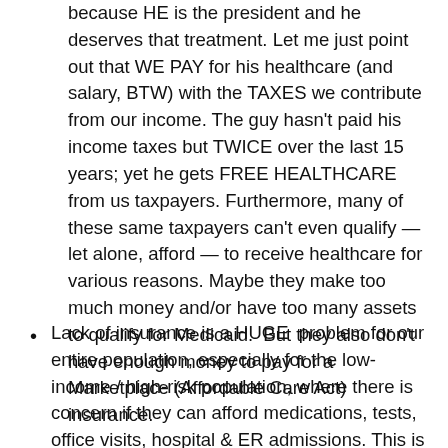because HE is the president and he deserves that treatment. Let me just point out that WE PAY for his healthcare (and salary, BTW) with the TAXES we contribute from our income. The guy hasn't paid his income taxes but TWICE over the last 15 years; yet he gets FREE HEALTHCARE from us taxpayers. Furthermore, many of these same taxpayers can't even qualify — let alone, afford — to receive healthcare for various reasons. Maybe they make too much money and/or have too many assets to qualify for Medicaid.  But they also don't have enough money to pay for a Marketplace (Affordable Care Act) insurance.
Lack of insurance is a HUGE  problem for our entire population, especially for the low-income / high-risk population, where there is concern if they can afford medications, tests, office visits, hospital & ER admissions. This is a major factor on why people won't